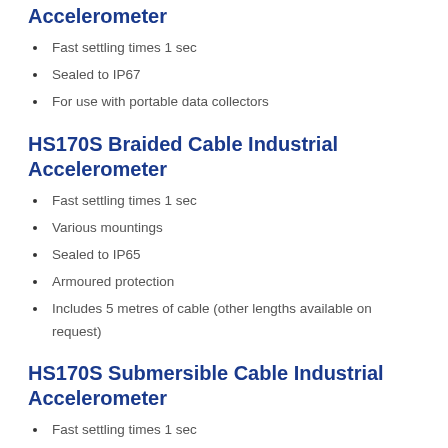Accelerometer
Fast settling times 1 sec
Sealed to IP67
For use with portable data collectors
HS170S Braided Cable Industrial Accelerometer
Fast settling times 1 sec
Various mountings
Sealed to IP65
Armoured protection
Includes 5 metres of cable (other lengths available on request)
HS170S Submersible Cable Industrial Accelerometer
Fast settling times 1 sec
Various mountings
Sealed to IP68
Submerged up to 100 metres (10 bar)